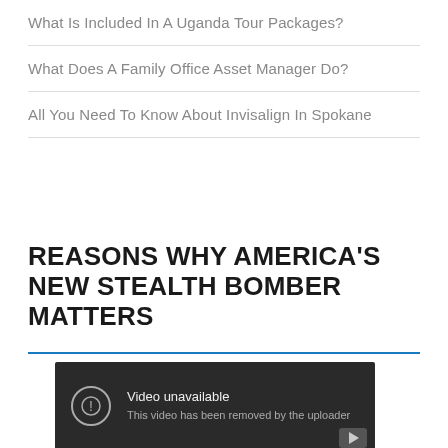What Is Included In A Uganda Tour Packages?
What Does A Family Office Asset Manager Do?
All You Need To Know About Invisalign In Spokane
REASONS WHY AMERICA'S NEW STEALTH BOMBER MATTERS
[Figure (screenshot): Embedded video player showing 'Video unavailable - This video has been removed by the uploader']
[Figure (other): Social media sharing buttons: Facebook, Google+, Twitter, and Add (+) buttons on the left side]